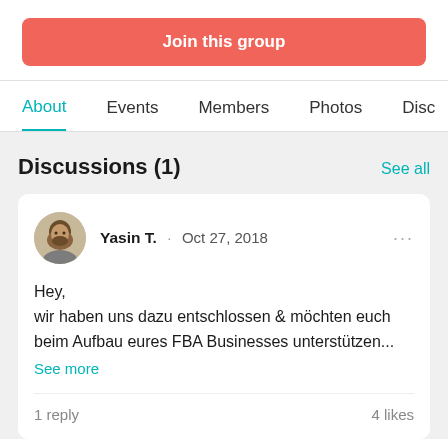Join this group
About · Events · Members · Photos · Disc
Discussions (1)
See all
Yasin T. · Oct 27, 2018
Hey,
wir haben uns dazu entschlossen & möchten euch beim Aufbau eures FBA Businesses unterstützen...
See more
1 reply
4 likes